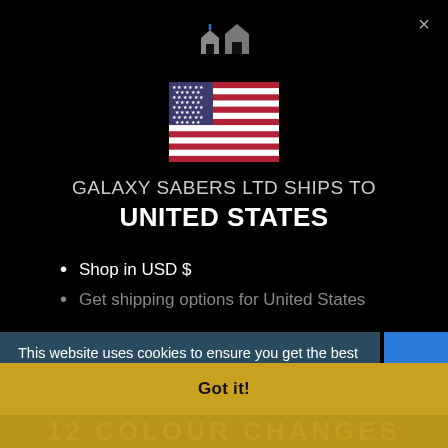[Figure (logo): Galaxy Sabers house/home logo icon in blue and white at top center]
×
[Figure (illustration): American flag emoji/icon]
GALAXY SABERS LTD SHIPS TO UNITED STATES
Shop in USD $
Get shipping options for United States
This website uses cookies to ensure you get the best experience on our website. Learn more
Change shipping country
Got it!
12 COLOUR CHANGES